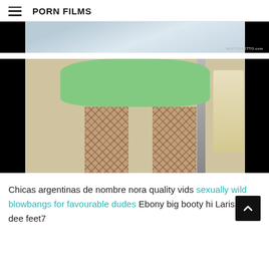PORN FILMS
[Figure (screenshot): Video thumbnail with dark letterbox bars on left and right, blueish background in center with WHITEGHETTO.com watermark]
[Figure (photo): Person wearing green shorts and fishnet stockings, viewed from behind, outdoors]
Chicas argentinas de nombre nora quality vids sexually wild blowbangs for favourable dudes Ebony big booty hi Larissa dee feet7